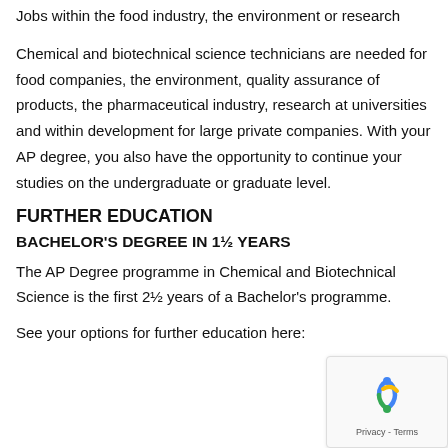Jobs within the food industry, the environment or research
Chemical and biotechnical science technicians are needed for food companies, the environment, quality assurance of products, the pharmaceutical industry, research at universities and within development for large private companies. With your AP degree, you also have the opportunity to continue your studies on the undergraduate or graduate level.
FURTHER EDUCATION
BACHELOR'S DEGREE IN 1½ YEARS
The AP Degree programme in Chemical and Biotechnical Science is the first 2½ years of a Bachelor's programme.
See your options for further education here: